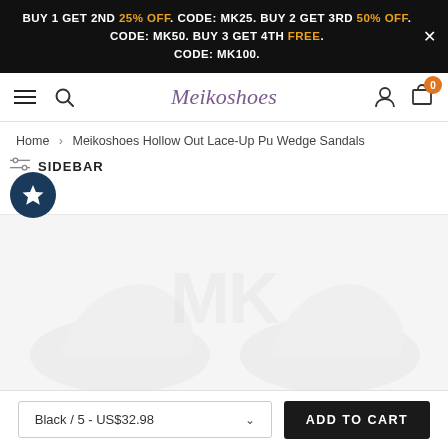BUY 1 GET 2ND 25% OFF. CODE: MK25. BUY 2 GET 3RD 50% OFF. CODE: MK50. BUY 3 GET 4TH FREE. CODE: MK100.
Meikoshoes
Home > Meikoshoes Hollow Out Lace-Up Pu Wedge Sandals
SIDEBAR
[Figure (photo): Product image of Meikoshoes Hollow Out Lace-Up Pu Wedge Sandals, faded/watermarked appearance]
Black / 5 - US$32.98  ADD TO CART